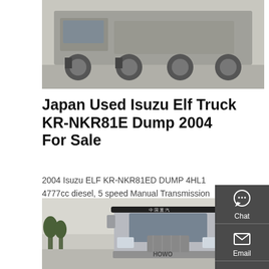[Figure (photo): Top portion of a large truck/semi-truck cab viewed from front, parked on concrete surface, grey sky background]
Japan Used Isuzu Elf Truck KR-NKR81E Dump 2004 For Sale
2004 Isuzu ELF KR-NKR81ED DUMP 4HL1 4777cc diesel, 5 speed Manual Transmission 134000kms, one owner, AC, PS, PW, 3000kg loading. Get Free Quote.
[Figure (other): GET A QUOTE red button]
[Figure (photo): Silver HOWO heavy truck cab viewed from front-left, trees visible in background, open yard setting]